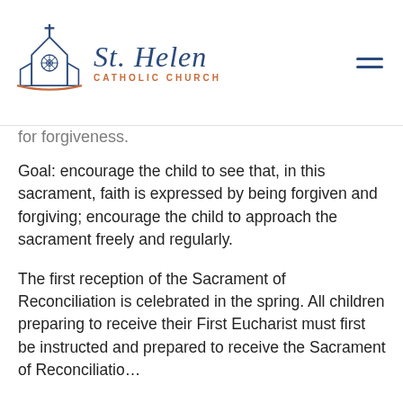St. Helen Catholic Church
for forgiveness.
Goal: encourage the child to see that, in this sacrament, faith is expressed by being forgiven and forgiving; encourage the child to approach the sacrament freely and regularly.
The first reception of the Sacrament of Reconciliation is celebrated in the spring. All children preparing to receive their First Eucharist must first be instructed and prepared to receive the Sacrament of Reconciliation.